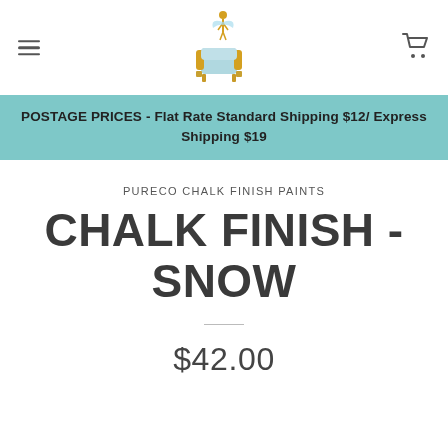Navigation header with hamburger menu, logo (fairy with armchair), and cart icon
POSTAGE PRICES - Flat Rate Standard Shipping $12/ Express Shipping $19
PURECO CHALK FINISH PAINTS
CHALK FINISH - SNOW
$42.00